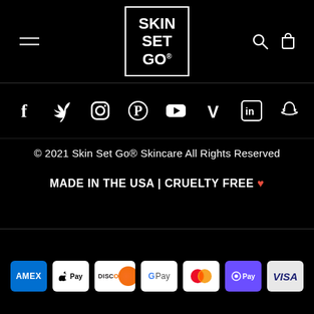[Figure (logo): Skin Set Go logo: white text on black background inside a white border box reading SKIN SET GO with registered trademark symbol]
[Figure (infographic): Social media icons row: Facebook, Twitter, Instagram, Pinterest, YouTube, Vimeo, LinkedIn, Snapchat]
© 2021 Skin Set Go® Skincare All Rights Reserved
MADE IN THE USA | CRUELTY FREE ♥
[Figure (infographic): Payment method icons: American Express, Apple Pay, Discover, Google Pay, Mastercard, Samsung Pay (O Pay), Visa]